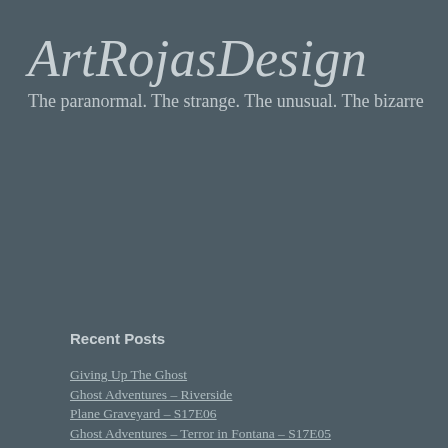ArtRojasDesign
The paranormal. The strange. The unusual. The bizarre
Recent Posts
Search
Giving Up The Ghost
Ghost Adventures – Riverside
Plane Graveyard – S17E06
Ghost Adventures – Terror in Fontana – S17E05
« Ghost Adventures – Demons in S